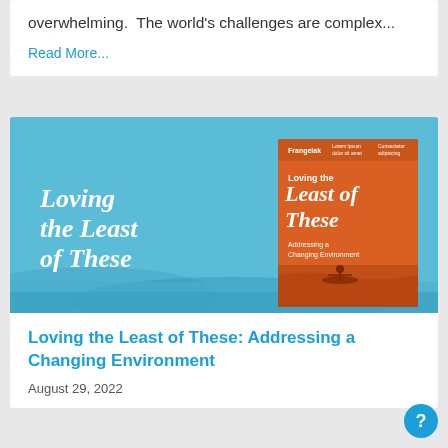overwhelming. The world's challenges are complex...
Read More...
[Figure (illustration): Banner image with sky-blue background showing hills/water at the bottom and italic white text reading 'Loving the Least of These' on the left. On the right is an orange book cover with the title 'Loving the Least of These: Addressing a Changing Environment' and an illustration of a person on a boat.]
Loving the Least of These: Addressing a Changing Environment
August 29, 2022